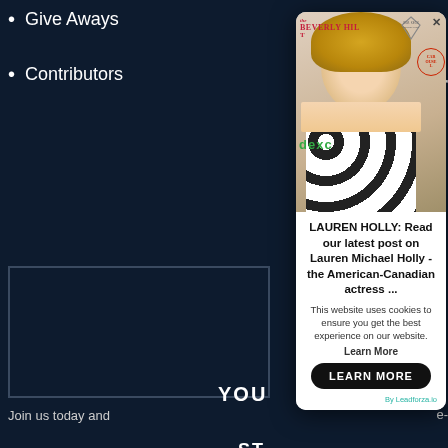Give Aways
Contributors
ST
f
YOU
Join us today and
Ar
[Figure (photo): Popup modal showing Lauren Holly at Beverly Hills event wearing black and white patterned top, with Beverly Hills Hotel logo, W.M. Keck Foundation logo, dexco branding, and Carousel logo in background]
LAUREN HOLLY: Read our latest post on Lauren Michael Holly - the American-Canadian actress ...
This website uses cookies to ensure you get the best experience on our website.
Learn More
LEARN MORE
By Leadforza.io